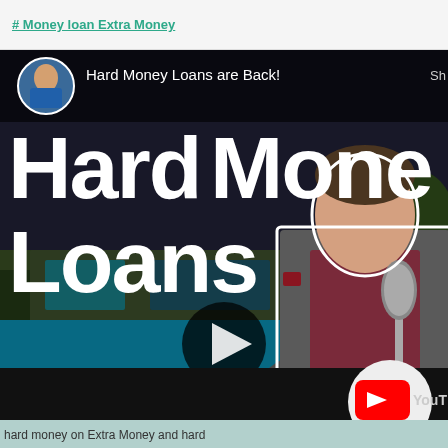# Money loan Extra Money
[Figure (screenshot): YouTube video thumbnail showing 'Hard Money Loans are Back!' with large white bold text 'Hard Money Loans' over a dark background with a luxury house/pool scene. A man in a grey blazer and burgundy shirt is on the right side. A play button is visible in the center. Channel avatar shows a man in a blue blazer. Bottom shows YouTube branding.]
hard money on Extra Money and hard